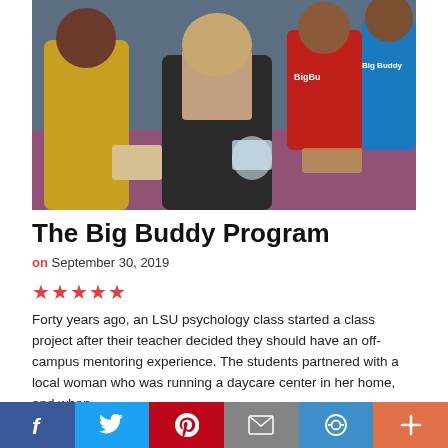[Figure (photo): Group photo showing an adult woman leaning over a table with several children wearing 'BigBuddy' branded red and blue shirts, engaged in an activity together.]
The Big Buddy Program
on September 30, 2019
★★★★★
Forty years ago, an LSU psychology class started a class project after their teacher decided they should have an off-campus mentoring experience. The students partnered with a local woman who was running a daycare center in her home, and when